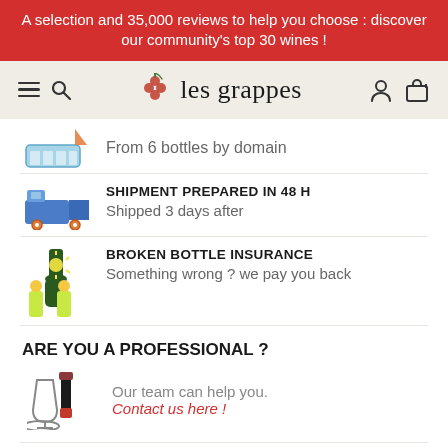A selection and 35,000 reviews to help you choose : discover our community's top 30 wines !
[Figure (screenshot): les grappes website header with hamburger menu, search icon, grape logo, user icon and cart icon]
From 6 bottles by domain
SHIPMENT PREPARED IN 48 H
Shipped 3 days after
BROKEN BOTTLE INSURANCE
Something wrong ? we pay you back
ARE YOU A PROFESSIONAL ?
Our team can help you.
Contact us here !
WINE INFORMATION